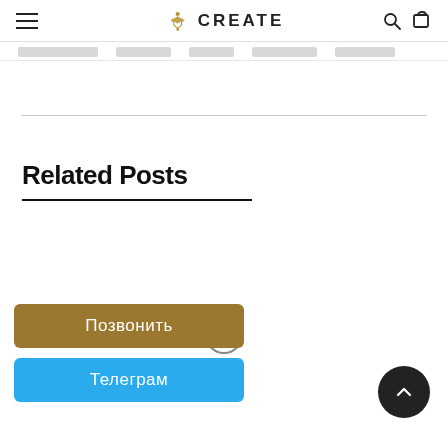CREATE
Related Posts
[Figure (illustration): Loading spinner / refresh icon, gray circular arrows]
Позвонить
Телеграм